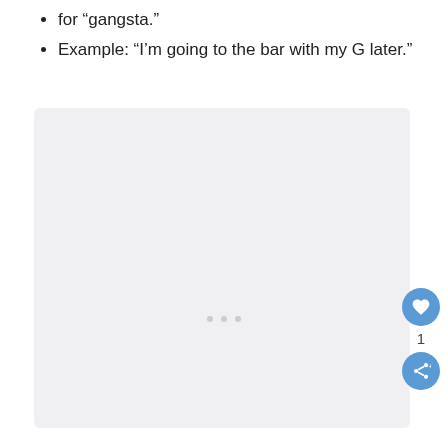for “gangsta.”
Example: “I’m going to the bar with my G later.”
[Figure (other): A light grey content placeholder box with three dots indicating loading or empty content, with a heart/like button showing count of 1 and a share button on the right side]